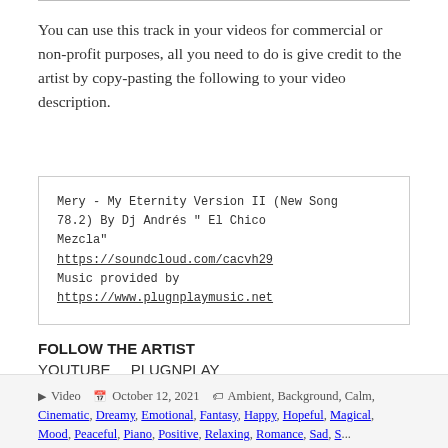You can use this track in your videos for commercial or non-profit purposes, all you need to do is give credit to the artist by copy-pasting the following to your video description.
Mery - My Eternity Version II (New Song 78.2) By Dj Andrés " El Chico Mezcla"
https://soundcloud.com/cacvh29
Music provided by
https://www.plugnplaymusic.net
FOLLOW THE ARTIST
YOUTUBE   PLUGNPLAY
▶ Video   📅 October 12, 2021   🏷 Ambient, Background, Calm, Cinematic, Dreamy, Emotional, Fantasy, Happy, Hopeful, Magical, Mood, Peaceful, Piano, Positive, Relaxing, Romance, Sad, S...